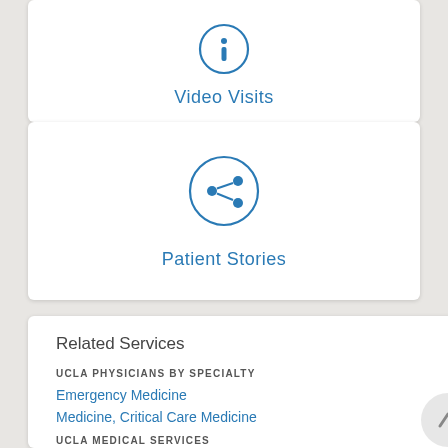[Figure (illustration): Info icon (letter i in a circle) for Video Visits card]
Video Visits
[Figure (illustration): Share icon (three connected dots) in a circle for Patient Stories card]
Patient Stories
Related Services
UCLA PHYSICIANS BY SPECIALTY
Emergency Medicine
Medicine, Critical Care Medicine
UCLA MEDICAL SERVICES